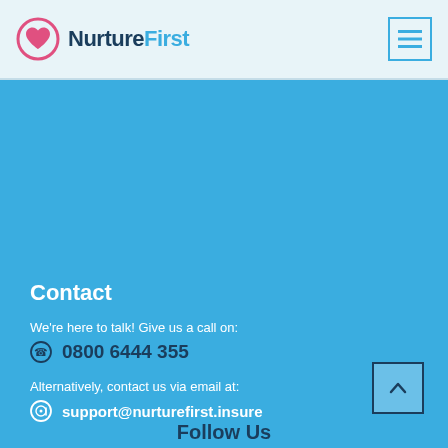NurtureFirst
Contact
We're here to talk! Give us a call on:
0800 6444 355
Alternatively, contact us via email at:
support@nurturefirst.insure
Follow Us